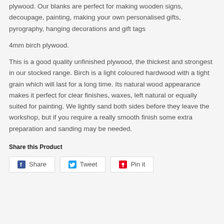plywood. Our blanks are perfect for making wooden signs, decoupage, painting, making your own personalised gifts, pyrography, hanging decorations and gift tags
4mm birch plywood.
This is a good quality unfinished plywood, the thickest and strongest in our stocked range. Birch is a light coloured hardwood with a tight grain which will last for a long time. Its natural wood appearance makes it perfect for clear finishes, waxes, left natural or equally suited for painting. We lightly sand both sides before they leave the workshop, but if you require a really smooth finish some extra preparation and sanding may be needed.
Share this Product
Share  Tweet  Pin it